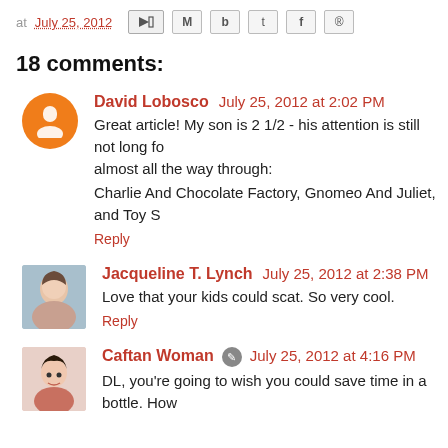at July 25, 2012
18 comments:
David Lobosco July 25, 2012 at 2:02 PM
Great article! My son is 2 1/2 - his attention is still not long for almost all the way through:
Charlie And Chocolate Factory, Gnomeo And Juliet, and Toy S
Reply
Jacqueline T. Lynch July 25, 2012 at 2:38 PM
Love that your kids could scat. So very cool.
Reply
Caftan Woman July 25, 2012 at 4:16 PM
DL, you're going to wish you could save time in a bottle. How